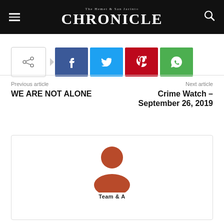The Hemet & San Jacinto CHRONICLE
[Figure (infographic): Share buttons row: share toggle, Facebook, Twitter, Pinterest, WhatsApp]
Previous article
Next article
WE ARE NOT ALONE
Crime Watch – September 26, 2019
[Figure (photo): Author avatar placeholder: orange person silhouette icon inside a bordered card]